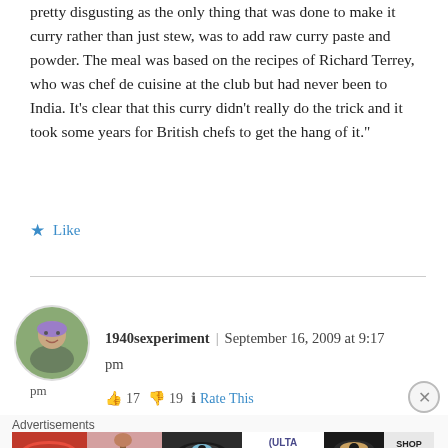pretty disgusting as the only thing that was done to make it curry rather than just stew, was to add raw curry paste and powder. The meal was based on the recipes of Richard Terrey, who was chef de cuisine at the club but had never been to India. It’s clear that this curry didn’t really do the trick and it took some years for British chefs to get the hang of it.”
★ Like
1940sexperiment  |  September 16, 2009 at 9:17 pm
[Figure (photo): Circular avatar photo of a woman with styled hair outdoors]
👍 17  👎 19  ℹ Rate This
Advertisements
[Figure (photo): ULTA beauty advertisement banner showing makeup and eyes with SHOP NOW text]